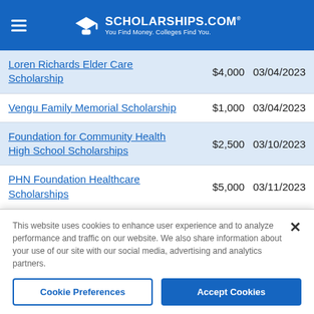SCHOLARSHIPS.COM® — You Find Money. Colleges Find You.
| Scholarship Name | Amount | Deadline |
| --- | --- | --- |
| Loren Richards Elder Care Scholarship | $4,000 | 03/04/2023 |
| Vengu Family Memorial Scholarship | $1,000 | 03/04/2023 |
| Foundation for Community Health High School Scholarships | $2,500 | 03/10/2023 |
| PHN Foundation Healthcare Scholarships | $5,000 | 03/11/2023 |
This website uses cookies to enhance user experience and to analyze performance and traffic on our website. We also share information about your use of our site with our social media, advertising and analytics partners.